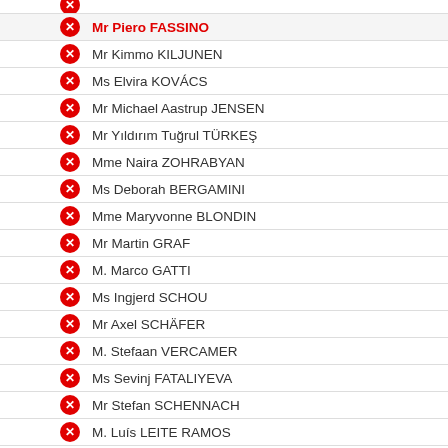Mr Piero FASSINO
Mr Kimmo KILJUNEN
Ms Elvira KOVÁCS
Mr Michael Aastrup JENSEN
Mr Yıldırım Tuğrul TÜRKEŞ
Mme Naira ZOHRABYAN
Ms Deborah BERGAMINI
Mme Maryvonne BLONDIN
Mr Martin GRAF
M. Marco GATTI
Ms Ingjerd SCHOU
Mr Axel SCHÄFER
M. Stefaan VERCAMER
Ms Sevinj FATALIYEVA
Mr Stefan SCHENNACH
M. Luís LEITE RAMOS
Mr Frank SCHWABE